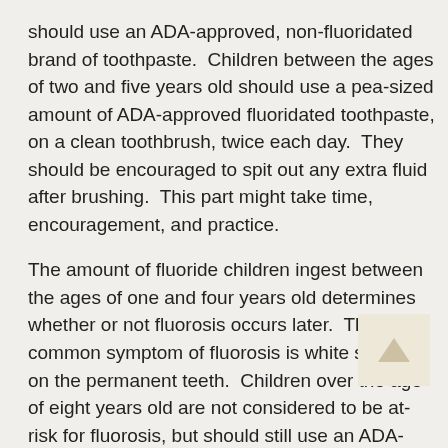should use an ADA-approved, non-fluoridated brand of toothpaste.  Children between the ages of two and five years old should use a pea-sized amount of ADA-approved fluoridated toothpaste, on a clean toothbrush, twice each day.  They should be encouraged to spit out any extra fluid after brushing.  This part might take time, encouragement, and practice.
The amount of fluoride children ingest between the ages of one and four years old determines whether or not fluorosis occurs later.  The most common symptom of fluorosis is white specks on the permanent teeth.  Children over the age of eight years old are not considered to be at-risk for fluorosis, but should still use an ADA-approved brand of toothpaste.
Does my child need fluoride supplements?
The pediatric dentist is the best person to decide whether